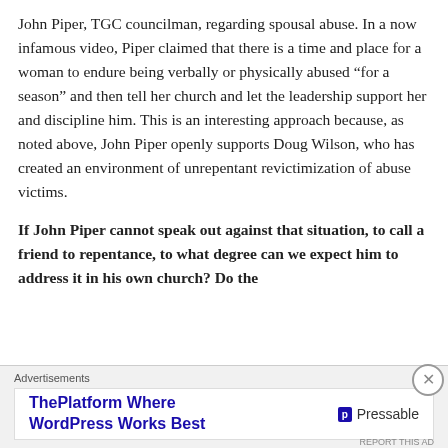John Piper, TGC councilman, regarding spousal abuse. In a now infamous video, Piper claimed that there is a time and place for a woman to endure being verbally or physically abused “for a season” and then tell her church and let the leadership support her and discipline him. This is an interesting approach because, as noted above, John Piper openly supports Doug Wilson, who has created an environment of unrepentant revictimization of abuse victims.
If John Piper cannot speak out against that situation, to call a friend to repentance, to what degree can we expect him to address it in his own church? Do the
Advertisements
[Figure (other): Advertisement banner for Pressable: 'ThePlatform Where WordPress Works Best' with Pressable logo]